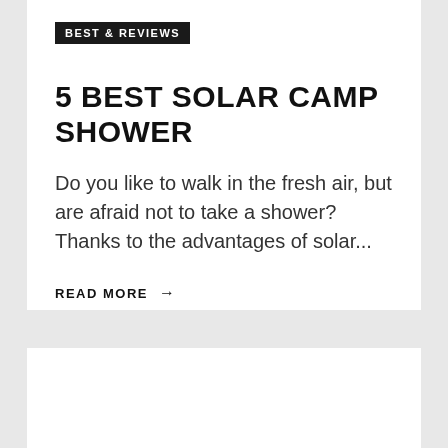BEST & REVIEWS
5 BEST SOLAR CAMP SHOWER
Do you like to walk in the fresh air, but are afraid not to take a shower? Thanks to the advantages of solar...
READ MORE →